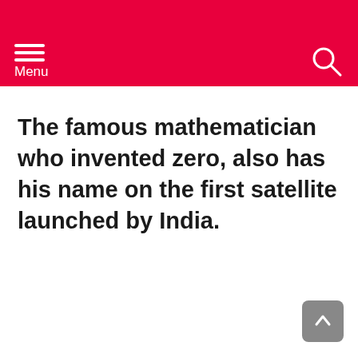Menu
The famous mathematician who invented zero, also has his name on the first satellite launched by India.